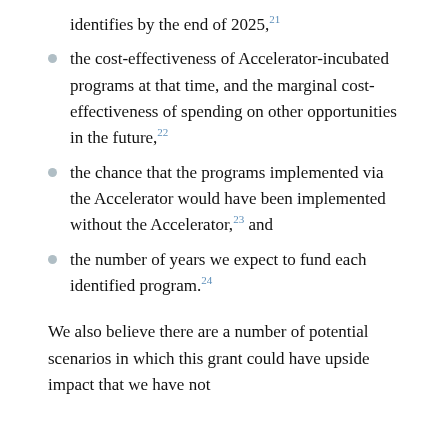identifies by the end of 2025,21
the cost-effectiveness of Accelerator-incubated programs at that time, and the marginal cost-effectiveness of spending on other opportunities in the future,22
the chance that the programs implemented via the Accelerator would have been implemented without the Accelerator,23 and
the number of years we expect to fund each identified program.24
We also believe there are a number of potential scenarios in which this grant could have upside impact that we have not